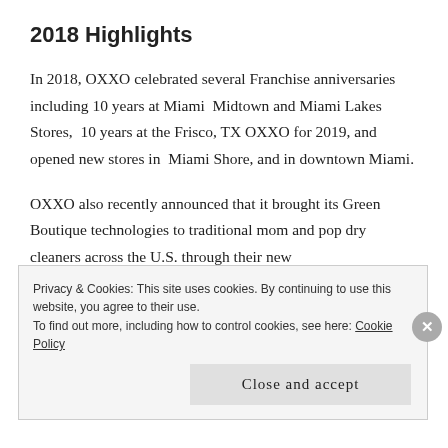2018 Highlights
In 2018, OXXO celebrated several Franchise anniversaries including 10 years at Miami  Midtown and Miami Lakes Stores,  10 years at the Frisco, TX OXXO for 2019, and opened new stores in  Miami Shore, and in downtown Miami.
OXXO also recently announced that it brought its Green Boutique technologies to traditional mom and pop dry cleaners across the U.S. through their new
Privacy & Cookies: This site uses cookies. By continuing to use this website, you agree to their use.
To find out more, including how to control cookies, see here: Cookie Policy
Close and accept